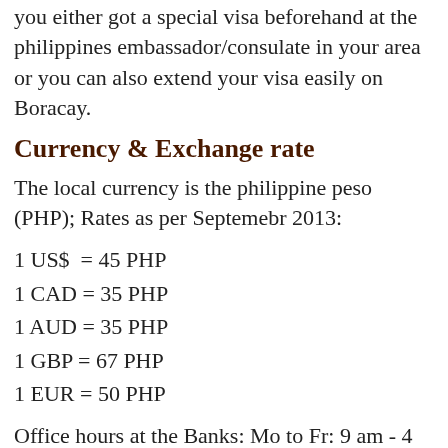you either got a special visa beforehand at the philippines embassador/consulate in your area or you can also extend your visa easily on Boracay.
Currency & Exchange rate
The local currency is the philippine peso (PHP); Rates as per Septemebr 2013:
1 US$  = 45 PHP
1 CAD = 35 PHP
1 AUD = 35 PHP
1 GBP = 67 PHP
1 EUR = 50 PHP
Office hours at the Banks: Mo to Fr: 9 am - 4 pm. There are a number of different banks exchanging foreign currencies or do cash out on credit cards. Also available many cash machines. For payment with traveler